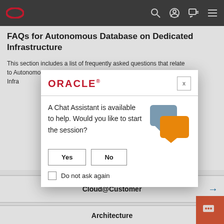Oracle navigation bar with logo, search, account, chat, and menu icons
FAQs for Autonomous Database on Dedicated Infrastructure
This section includes a list of frequently asked questions that relate to Autonomous Database on Dedicated Infrastructure.
[Figure (screenshot): Oracle Chat Assistant modal dialog with ORACLE logo, close button, message 'A Chat Assistant is available to help. Would you like to start the session?', chat bubble icon, Yes and No buttons, and 'Do not ask again' checkbox]
Cloud@Customer
Architecture